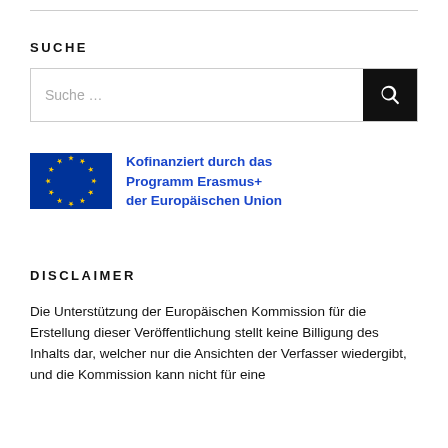SUCHE
[Figure (screenshot): Search input box with placeholder text 'Suche …' and a black search button with magnifying glass icon]
[Figure (logo): EU flag (blue background with circle of 12 yellow stars) alongside text 'Kofinanziert durch das Programm Erasmus+ der Europäischen Union' in blue bold font]
DISCLAIMER
Die Unterstützung der Europäischen Kommission für die Erstellung dieser Veröffentlichung stellt keine Billigung des Inhalts dar, welcher nur die Ansichten der Verfasser wiedergibt, und die Kommission kann nicht für eine